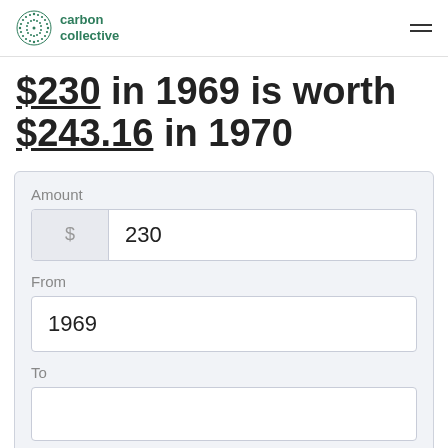carbon collective
$230 in 1969 is worth $243.16 in 1970
Amount
$ 230
From
1969
To